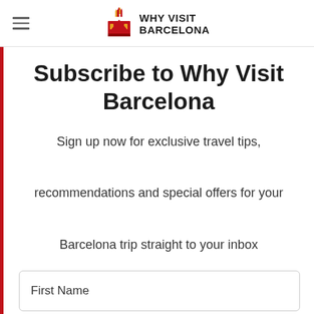WHY VISIT BARCELONA
Subscribe to Why Visit Barcelona
Sign up now for exclusive travel tips, recommendations and special offers for your Barcelona trip straight to your inbox
First Name